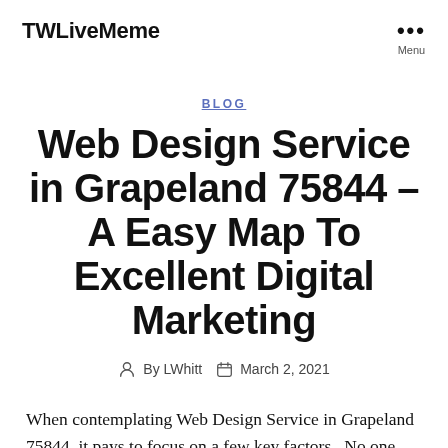TWLiveMeme
BLOG
Web Design Service in Grapeland 75844 – A Easy Map To Excellent Digital Marketing
By LWhitt   March 2, 2021
When contemplating Web Design Service in Grapeland 75844, it pays to focus on a few key factors.  No one can